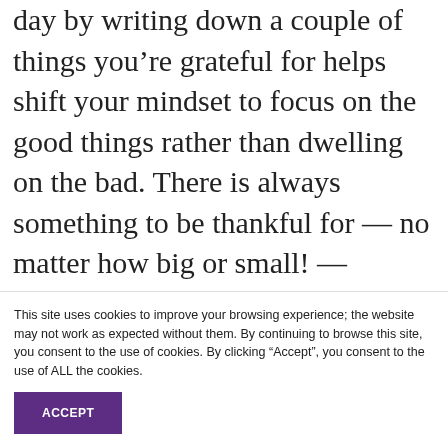day by writing down a couple of things you're grateful for helps shift your mindset to focus on the good things rather than dwelling on the bad. There is always something to be thankful for — no matter how big or small! — Shannon Walsh
This site uses cookies to improve your browsing experience; the website may not work as expected without them. By continuing to browse this site, you consent to the use of cookies. By clicking "Accept", you consent to the use of ALL the cookies.
ACCEPT